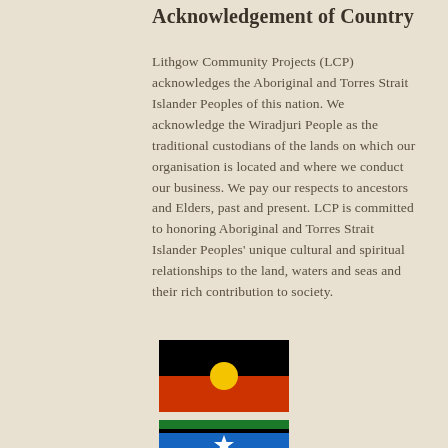Acknowledgement of Country
Lithgow Community Projects (LCP) acknowledges the Aboriginal and Torres Strait Islander Peoples of this nation. We acknowledge the Wiradjuri People as the traditional custodians of the lands on which our organisation is located and where we conduct our business. We pay our respects to ancestors and Elders, past and present. LCP is committed to honoring Aboriginal and Torres Strait Islander Peoples' unique cultural and spiritual relationships to the land, waters and seas and their rich contribution to society.
[Figure (illustration): Australian Aboriginal Flag: top half black, bottom half red, yellow circle in the center]
[Figure (illustration): Torres Strait Islander Flag: partially visible — green stripe at top, blue middle section with a white star and black/white design]